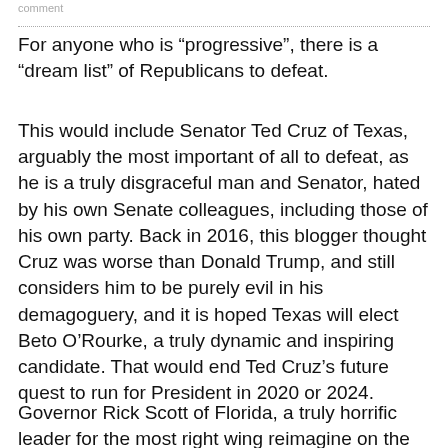comment
For anyone who is “progressive”, there is a “dream list” of Republicans to defeat.
This would include Senator Ted Cruz of Texas, arguably the most important of all to defeat, as he is a truly disgraceful man and Senator, hated by his own Senate colleagues, including those of his own party. Back in 2016, this blogger thought Cruz was worse than Donald Trump, and still considers him to be purely evil in his demagoguery, and it is hoped Texas will elect Beto O’Rourke, a truly dynamic and inspiring candidate. That would end Ted Cruz’s future quest to run for President in 2020 or 2024.
Governor Rick Scott of Florida, a truly horrific leader for the most right wing reimagine on the